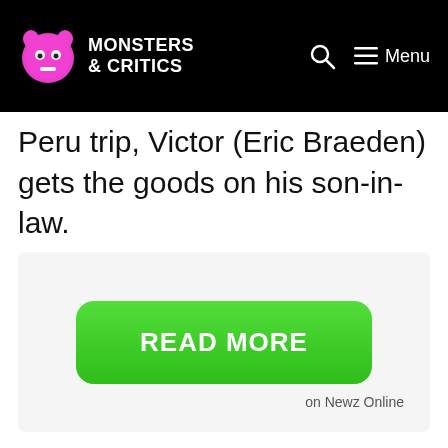Monsters & Critics — Menu
Peru trip, Victor (Eric Braeden) gets the goods on his son-in-law.
[Figure (other): Ad block with a green READ MORE button and 'on Newz Online' label]
on Newz Online